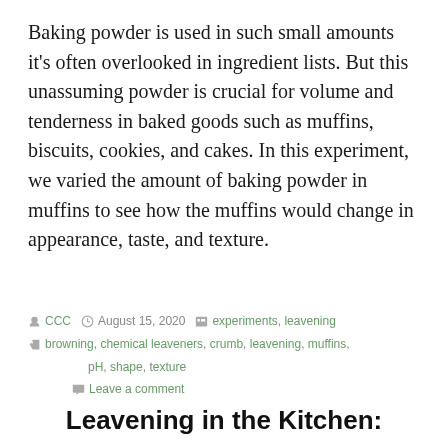Baking powder is used in such small amounts it's often overlooked in ingredient lists. But this unassuming powder is crucial for volume and tenderness in baked goods such as muffins, biscuits, cookies, and cakes. In this experiment, we varied the amount of baking powder in muffins to see how the muffins would change in appearance, taste, and texture.
CCC  August 15, 2020  experiments, leavening  browning, chemical leaveners, crumb, leavening, muffins, pH, shape, texture  Leave a comment
Leavening in the Kitchen: